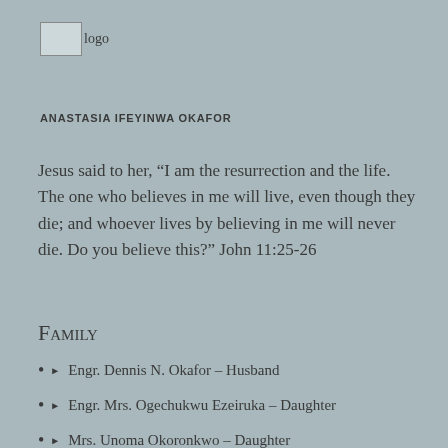[Figure (logo): Logo placeholder image with text 'logo']
ANASTASIA IFEYINWA OKAFOR
Jesus said to her, “I am the resurrection and the life. The one who believes in me will live, even though they die; and whoever lives by believing in me will never die. Do you believe this?” John 11:25-26
Family
Engr. Dennis N. Okafor – Husband
Engr. Mrs. Ogechukwu Ezeiruka – Daughter
Mrs. Unoma Okoronkwo – Daughter
Mr. Nnadozie E. Okafor – Son